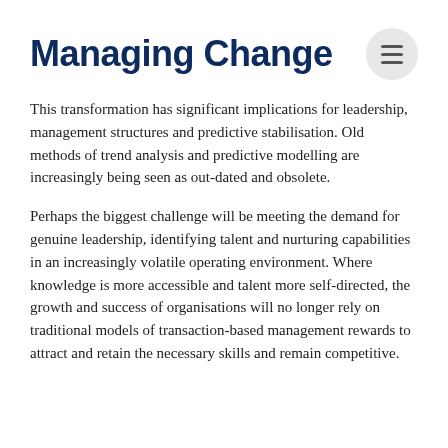Managing Change
This transformation has significant implications for leadership, management structures and predictive stabilisation. Old methods of trend analysis and predictive modelling are increasingly being seen as out-dated and obsolete.
Perhaps the biggest challenge will be meeting the demand for genuine leadership, identifying talent and nurturing capabilities in an increasingly volatile operating environment. Where knowledge is more accessible and talent more self-directed, the growth and success of organisations will no longer rely on traditional models of transaction-based management rewards to attract and retain the necessary skills and remain competitive.